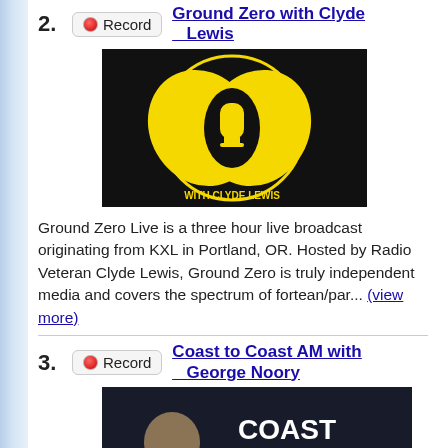2. Record — Ground Zero with Clyde Lewis
[Figure (photo): Ground Zero with Clyde Lewis podcast logo: yellow microphone/leaf design on black background]
Ground Zero Live is a three hour live broadcast originating from KXL in Portland, OR. Hosted by Radio Veteran Clyde Lewis, Ground Zero is truly independent media and covers the spectrum of fortean/par... (view more)
3. Record — Coast to Coast AM with George Noory
[Figure (photo): Coast to Coast AM with George Noory podcast image: man in blue shirt with Coast to Coast AM logo text]
Coast to Coast AM deals with UFO's, strange occurrences, life after death, and other unexplained (and often inexplicable) phenomena. Coast to Coast AM is overnight talk radio with daytime ratings.
4. Record — Alan james Morninf Show